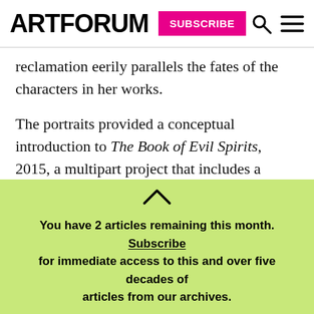ARTFORUM SUBSCRIBE
reclamation eerily parallels the fates of the characters in her works.
The portraits provided a conceptual introduction to The Book of Evil Spirits, 2015, a multipart project that includes a twenty-six-minute video in which the artist enacts a fictional séance led by the medium Eusapia Palladino. Here, the illiterate Palladino uses a combination of trance and automatic writing to conjure notorious women—again, all played by
You have 2 articles remaining this month. Subscribe for immediate access to this and over five decades of articles from our archives.